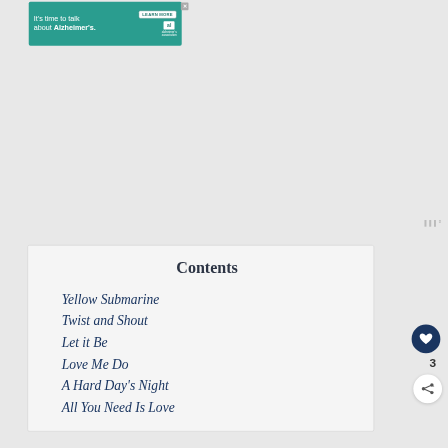[Figure (other): Alzheimer's Association advertisement banner with teal background. Text reads: It's time to talk about Alzheimer's. with a LEARN MORE button and the Alzheimer's association logo.]
Contents
Yellow Submarine
Twist and Shout
Let it Be
Love Me Do
A Hard Day's Night
All You Need Is Love